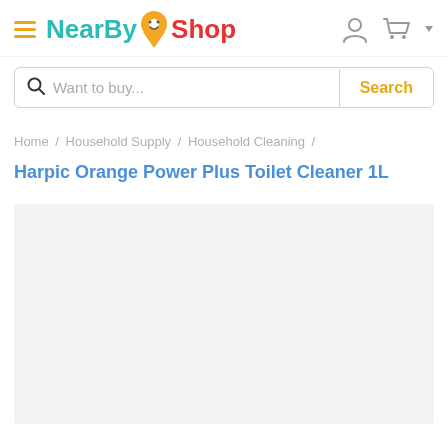NearBy Shop
Want to buy... Search
Home / Household Supply / Household Cleaning /
Harpic Orange Power Plus Toilet Cleaner 1L
[Figure (other): Empty product image placeholder area with light gray background]